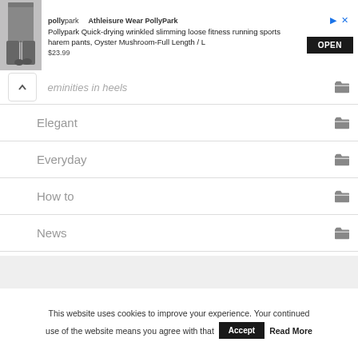[Figure (screenshot): Advertisement banner for PollyPark Athleisure Wear showing product image, title, price $23.99, and OPEN button]
Feminities in heels
Elegant
Everyday
How to
News
Weird
This website uses cookies to improve your experience. Your continued use of the website means you agree with that Accept Read More